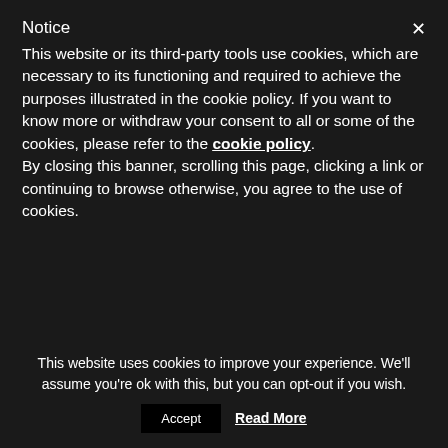Notice
This website or its third-party tools use cookies, which are necessary to its functioning and required to achieve the purposes illustrated in the cookie policy. If you want to know more or withdraw your consent to all or some of the cookies, please refer to the cookie policy. By closing this banner, scrolling this page, clicking a link or continuing to browse otherwise, you agree to the use of cookies.
Reply
Peter
September 28, 2011 at 4:44 PM
This website uses cookies to improve your experience. We'll assume you're ok with this, but you can opt-out if you wish.
Accept   Read More